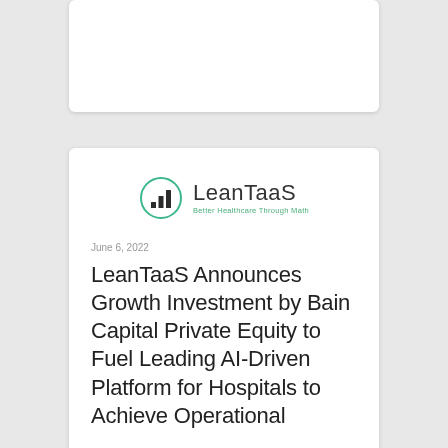[Figure (logo): LeanTaaS logo with circular bar chart icon in teal/green and text 'LeanTaaS Better Healthcare Through Math']
June 6, 2022
LeanTaaS Announces Growth Investment by Bain Capital Private Equity to Fuel Leading AI-Driven Platform for Hospitals to Achieve Operational